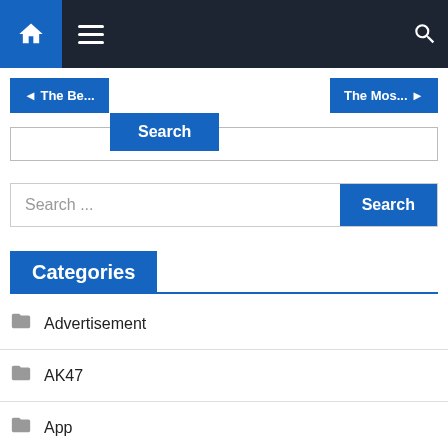Navigation bar with home, menu, and search icons
◄ The Be...
The Mos... ►
Search
Search ...
Search
Categories
Advertisement
AK47
App
Arts & Crafts
Arts and Entertainment